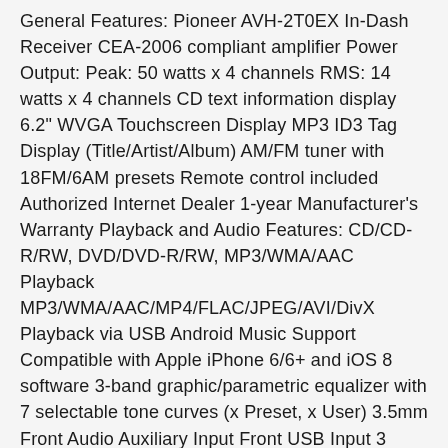General Features: Pioneer AVH-2T0EX In-Dash Receiver CEA-2006 compliant amplifier Power Output: Peak: 50 watts x 4 channels RMS: 14 watts x 4 channels CD text information display 6.2" WVGA Touchscreen Display MP3 ID3 Tag Display (Title/Artist/Album) AM/FM tuner with 18FM/6AM presets Remote control included Authorized Internet Dealer 1-year Manufacturer's Warranty Playback and Audio Features: CD/CD-R/RW, DVD/DVD-R/RW, MP3/WMA/AAC Playback MP3/WMA/AAC/MP4/FLAC/JPEG/AVI/DivX Playback via USB Android Music Support Compatible with Apple iPhone 6/6+ and iOS 8 software 3-band graphic/parametric equalizer with 7 selectable tone curves (x Preset, x User) 3.5mm Front Audio Auxiliary Input Front USB Input 3 Sets of 2V preamp outputs (front, rear and subwoofer) Bluetooth Features: Built-in Bluetooth technology for hands-free talking and audio streaming Bluetooth version